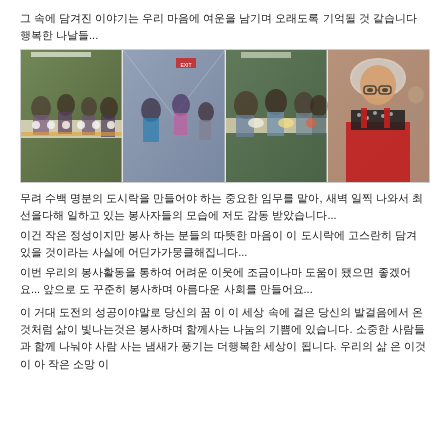그 속에 담겨진 이야기는 우리 마음에 여운을 남기며 오래도록 기억될 것 같습니다 행복한 나날들...
[Figure (photo): Four photos of people preparing food in a kitchen/cafeteria setting, wearing hairnets and aprons, working at long tables with food items. The last photo shows a woman in a red apron and hairnet posing for the camera.]
무려 수백 명분의 도시락을 만들어야 하는 중요한 임무를 맡아, 새벽 일찍 나와서 최선을다해 일하고 있는 봉사자들의 모습에 저도 감동 받았습니다...
이건 작은 정성이지만 봉사 하는 분들의 따뜻한 마음이 이 도시락에 고스란히 담겨 있을 것이라는 사실에 어딘가가뭉클해집니다...
이번 우리의 봉사활동을 통하여 어려운 이웃에 조금이나마 도움이 됐으면 좋겠어요... 앞으로 도 꾸준히 봉사하며 아름다운 사회를 만들어요...
이 거대 도전의 성공이야말로 당신의 꿈 이 이 세상 속에 걸은 당신의 발걸음에서 온것처럼 삶이 빛나는것은 봉사하며 함께사는 나눔의 기쁨에 있습니다. 소중한 사람들과 함께 나눠야 사람 사는 냄새가 풍기는 더행복한 세상이 됩니다. 우리의 삶 은 이것이 아 작은 소망 이